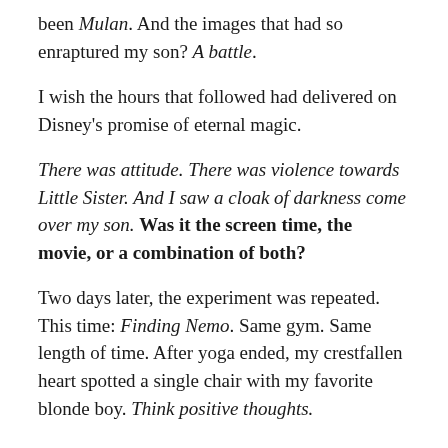been Mulan. And the images that had so enraptured my son? A battle.
I wish the hours that followed had delivered on Disney's promise of eternal magic.
There was attitude. There was violence towards Little Sister. And I saw a cloak of darkness come over my son. Was it the screen time, the movie, or a combination of both?
Two days later, the experiment was repeated. This time: Finding Nemo. Same gym. Same length of time. After yoga ended, my crestfallen heart spotted a single chair with my favorite blonde boy. Think positive thoughts.